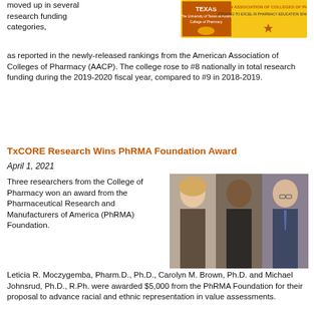[Figure (logo): University of Texas College of Pharmacy logo with AACP (American Association of Colleges of Pharmacy) logo]
moved up in several research funding categories, as reported in the newly-released rankings from the American Association of Colleges of Pharmacy (AACP). The college rose to #8 nationally in total research funding during the 2019-2020 fiscal year, compared to #9 in 2018-2019.
TxCORE Research Wins PhRMA Foundation Award
April 1, 2021
[Figure (photo): Photo of three researchers: a woman with blonde hair, a Black woman, and a man with glasses wearing a suit and tie]
Three researchers from the College of Pharmacy won an award from the Pharmaceutical Research and Manufacturers of America (PhRMA) Foundation. Leticia R. Moczygemba, Pharm.D., Ph.D., Carolyn M. Brown, Ph.D. and Michael Johnsrud, Ph.D., R.Ph. were awarded $5,000 from the PhRMA Foundation for their proposal to advance racial and ethnic representation in value assessments.